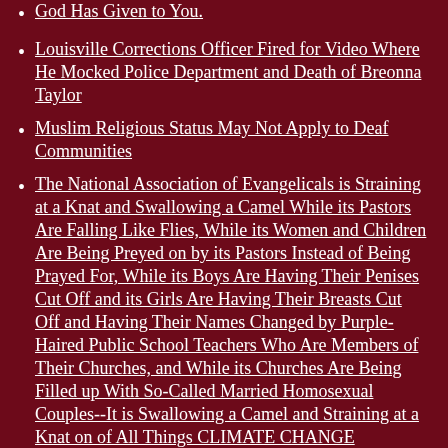God Has Given to You.
Louisville Corrections Officer Fired for Video Where He Mocked Police Department and Death of Breonna Taylor
Muslim Religious Status May Not Apply to Deaf Communities
The National Association of Evangelicals is Straining at a Knat and Swallowing a Camel While its Pastors Are Falling Like Flies, While its Women and Children Are Being Preyed on by its Pastors Instead of Being Prayed For, While its Boys Are Having Their Penises Cut Off and its Girls Are Having Their Breasts Cut Off and Having Their Names Changed by Purple-Haired Public School Teachers Who Are Members of Their Churches, and While its Churches Are Being Filled up With So-Called Married Homosexual Couples--It is Swallowing a Camel and Straining at a Knat on of All Things CLIMATE CHANGE Forgetting the Hymn That They Were Taught When They Were Children: "THIS IS MY FATHER'S WORLD" and it Won't be